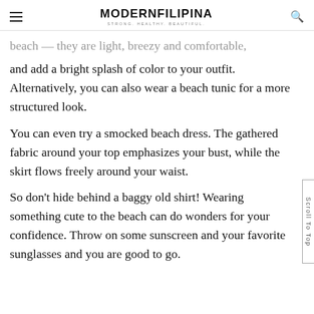MODERNFILIPINA — STRONG. HEALTHY. BEAUTIFUL.
beach — they are light, breezy and comfortable, and add a bright splash of color to your outfit. Alternatively, you can also wear a beach tunic for a more structured look.
You can even try a smocked beach dress. The gathered fabric around your top emphasizes your bust, while the skirt flows freely around your waist.
So don't hide behind a baggy old shirt! Wearing something cute to the beach can do wonders for your confidence. Throw on some sunscreen and your favorite sunglasses and you are good to go.